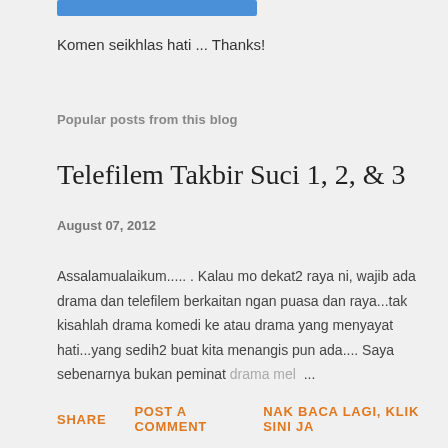[Figure (other): Blue button/bar element at top]
Komen seikhlas hati ... Thanks!
Popular posts from this blog
Telefilem Takbir Suci 1, 2, & 3
August 07, 2012
Assalamualaikum..... . Kalau mo dekat2 raya ni, wajib ada drama dan telefilem berkaitan ngan puasa dan raya...tak kisahlah drama komedi ke atau drama yang menyayat hati...yang sedih2 buat kita menangis pun ada.... Saya sebenarnya bukan peminat drama mel ...
SHARE   POST A COMMENT   NAK BACA LAGI, KLIK SINI JA